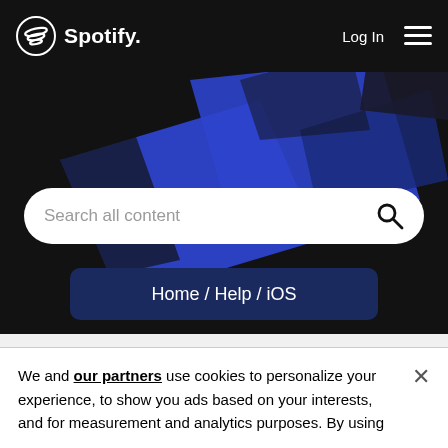[Figure (screenshot): Spotify website header with black background, Spotify logo (circular icon with lines and 'Spotify.' text), 'Log In' text and hamburger menu icon on the right]
[Figure (screenshot): Dark blue geometric shapes/banners decorating the hero area of the Spotify help page]
[Figure (screenshot): Search bar with placeholder text 'Search all content' and magnifying glass icon on white rounded pill background]
Home / Help / iOS
Topics with Label: id3
"CANT ACCESS LOCAL FILES" (1)
We and our partners use cookies to personalize your experience, to show you ads based on your interests, and for measurement and analytics purposes. By using